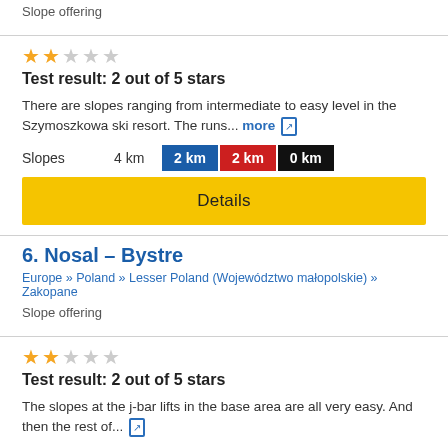Slope offering
[Figure (infographic): 2 filled stars, 3 empty stars rating]
Test result: 2 out of 5 stars
There are slopes ranging from intermediate to easy level in the Szymoszkowa ski resort. The runs... more
Slopes   4 km   2 km   2 km   0 km
Details
6. Nosal – Bystre
Europe » Poland » Lesser Poland (Województwo małopolskie) » Zakopane
Slope offering
[Figure (infographic): 2 filled stars, 3 empty stars rating]
Test result: 2 out of 5 stars
The slopes at the j-bar lifts in the base area are all very easy. And then the rest of...